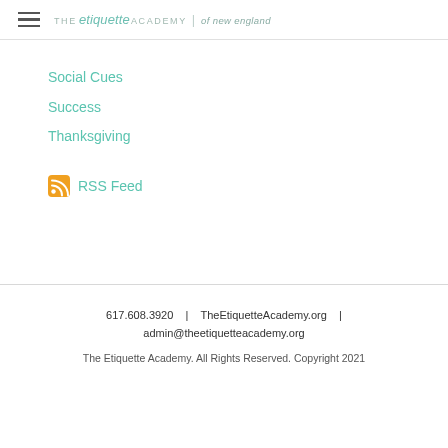THE etiquette ACADEMY | of new england
Social Cues
Success
Thanksgiving
RSS Feed
617.608.3920  |  TheEtiquetteAcademy.org  |  admin@theetiquetteacademy.org
The Etiquette Academy. All Rights Reserved. Copyright 2021